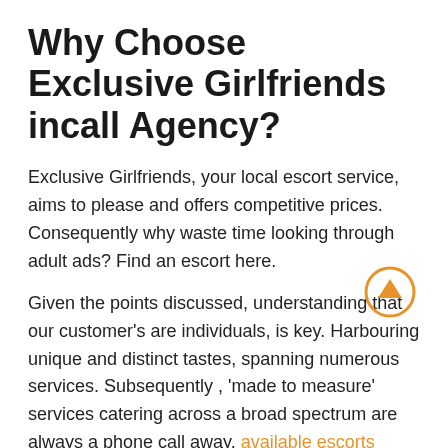Why Choose Exclusive Girlfriends incall Agency?
Exclusive Girlfriends, your local escort service, aims to please and offers competitive prices. Consequently why waste time looking through adult ads? Find an escort here.
Given the points discussed, understanding that our customer’s are individuals, is key. Harbouring unique and distinct tastes, spanning numerous services. Subsequently , ‘made to measure’ services catering across a broad spectrum are always a phone call away, available escorts today.
[Figure (illustration): Orange circular arrow-up scroll-to-top button icon]